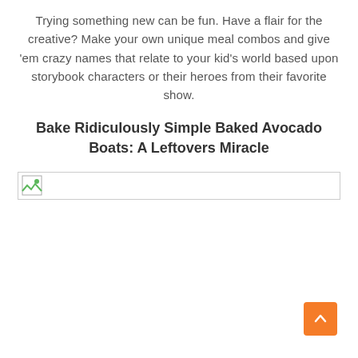Trying something new can be fun. Have a flair for the creative? Make your own unique meal combos and give 'em crazy names that relate to your kid's world based upon storybook characters or their heroes from their favorite show.
Bake Ridiculously Simple Baked Avocado Boats: A Leftovers Miracle
[Figure (photo): Broken/missing image placeholder icon with border]